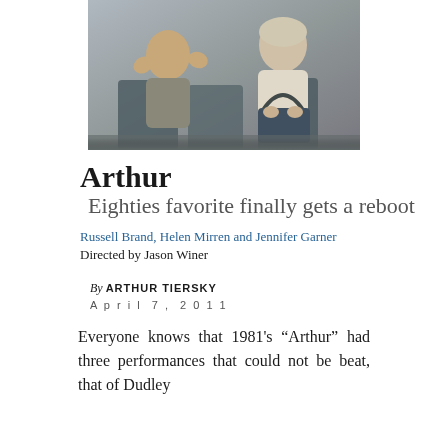[Figure (photo): Photo of two people seated, one person on the left with hands raised, another on the right holding a bag, taken in what appears to be a venue with chairs]
Arthur
Eighties favorite finally gets a reboot
Russell Brand, Helen Mirren and Jennifer Garner
Directed by Jason Winer
By ARTHUR TIERSKY
April 7, 2011
Everyone knows that 1981's “Arthur” had three performances that could not be beat, that of Dudley